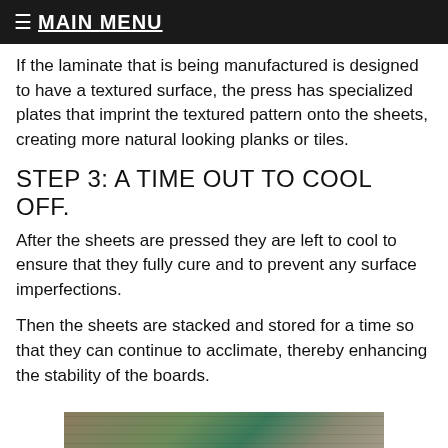≡ MAIN MENU
If the laminate that is being manufactured is designed to have a textured surface, the press has specialized plates that imprint the textured pattern onto the sheets, creating more natural looking planks or tiles.
STEP 3: A TIME OUT TO COOL OFF.
After the sheets are pressed they are left to cool to ensure that they fully cure and to prevent any surface imperfections.
Then the sheets are stacked and stored for a time so that they can continue to acclimate, thereby enhancing the stability of the boards.
[Figure (photo): Factory/warehouse floor showing stacked lumber boards and green industrial equipment]